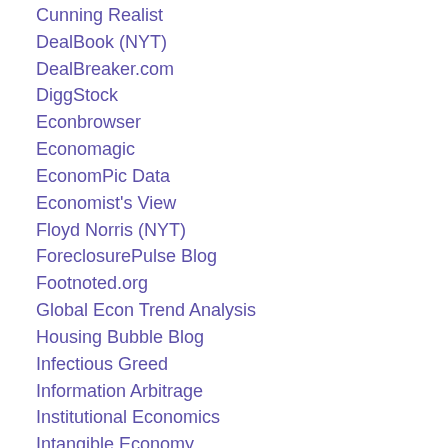Cunning Realist
DealBook (NYT)
DealBreaker.com
DiggStock
Econbrowser
Economagic
EconomPic Data
Economist's View
Floyd Norris (NYT)
ForeclosurePulse Blog
Footnoted.org
Global Econ Trend Analysis
Housing Bubble Blog
Infectious Greed
Information Arbitrage
Institutional Economics
Intangible Economy
JeffMatthewsIsNotMakingThisUp
Kirk Report
Long or Short Capital
Maoxian
Marketbeat (WSJ)
MessThatGreenspanMade
Metrics 2.0